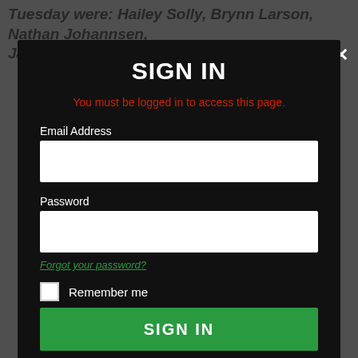Tuesday were: Hailey Solly, Brynn Larson, Nathan Johannsen, Jaden Sonnenberg and Elsie Ratz.
SIGN IN
You must be logged in to access this page.
Email Address
Password
Forgot your password?
Remember me
SIGN IN
Don't have an account?